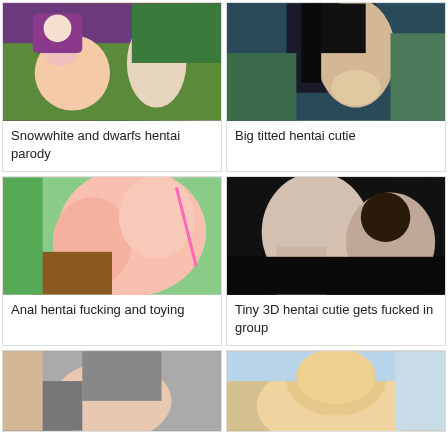[Figure (illustration): Animated hentai illustration - Snow White parody with cartoon characters]
Snowwhite and dwarfs hentai parody
[Figure (illustration): Anime style illustration of dark-haired female character]
Big titted hentai cutie
[Figure (illustration): Anime style hentai illustration with pink and green tones]
Anal hentai fucking and toying
[Figure (illustration): 3D rendered hentai scene with dark background]
Tiny 3D hentai cutie gets fucked in group
[Figure (illustration): Anime style illustration partially visible]
[Figure (illustration): 3D rendered blonde character illustration]